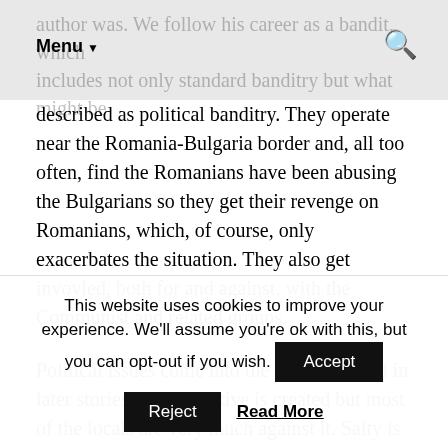Menu ▼ [search icon]
author was. We follow his career as a bandit, which includes not only standard banditry but what might be described as political banditry. They operate near the Romania-Bulgaria border and, all too often, find the Romanians have been abusing the Bulgarians so they get their revenge on Romanians, which, of course, only exacerbates the situation. They also get invovled, both for and against, with the Communist and related groups.
Political issues come into the story here and in later stories. A cooperative is created but most of the locals are very much against it. Salty is in favour of it, primarily because he has been offered the job of watchman. A lot of
This website uses cookies to improve your experience. We'll assume you're ok with this, but you can opt-out if you wish.
Accept
Reject
Read More